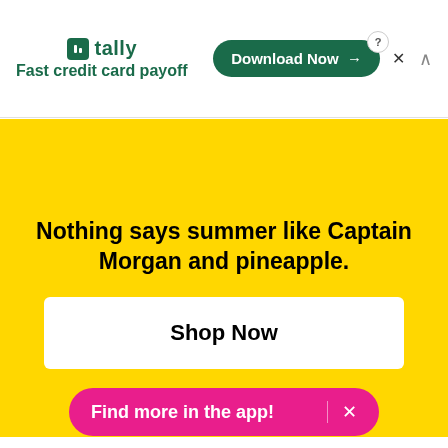[Figure (infographic): Tally app advertisement banner with logo, tagline 'Fast credit card payoff', and a 'Download Now' button]
[Figure (infographic): Captain Morgan yellow advertisement with headline 'Nothing says summer like Captain Morgan and pineapple.', a 'Shop Now' button, and 'Presented By Captain Morgan' at the bottom]
2. A cosmic lip gloss that is out of this world goo
[Figure (infographic): Pink pill-shaped app download banner reading 'Find more in the app!' with an X close button]